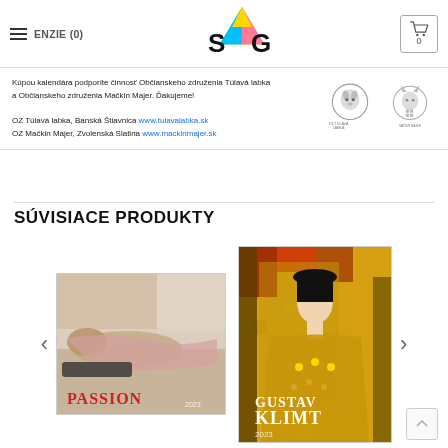≡ ENZIE (0)
[Figure (logo): SAG logo — pyramid shape with cyan, magenta, yellow colors, letters S and G on either side]
[Figure (other): Shopping cart icon with number 0]
Kúpou kalendára podporíte činnosť Občianskeho združenia Túlavá labka a Občianskeho združenia Mačkin Majer. Ďakujeme!

OZ Túlavá labka, Banská Štiavnica www.tulavalabka.sk
OZ Mačkin Majer, Zvolenská Slatina www.mackinmajer.sk
[Figure (logo): OZ Túlavá labka dog paw logo]
[Figure (logo): Mačkin Majer cat logo]
SÚVISIACE PRODUKTY
[Figure (photo): PASSION 2023 calendar cover showing a woman lying on a bed]
[Figure (photo): Gustav Klimt 2023 calendar cover showing the painting of Adele Bloch-Bauer]